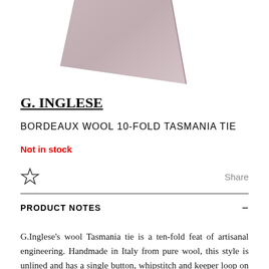[Figure (photo): Partial view of a bordeaux/mauve-colored wool tie against a white background, showing the upper portion of the tie at an angle]
G. INGLESE
BORDEAUX WOOL 10-FOLD TASMANIA TIE
Not in stock
PRODUCT NOTES
G.Inglese's wool Tasmania tie is a ten-fold feat of artisanal engineering. Handmade in Italy from pure wool, this style is unlined and has a single button, whipstitch and keeper loop on the back, as well as a brand logo detail